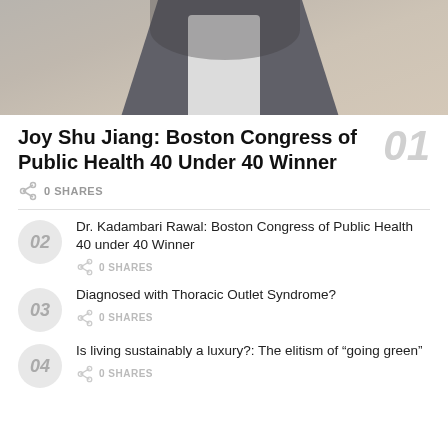[Figure (photo): Partial photo of a person wearing a dark blazer/jacket over a white shirt, cropped showing torso area with a beige/neutral background.]
Joy Shu Jiang: Boston Congress of Public Health 40 Under 40 Winner
0 SHARES
Dr. Kadambari Rawal: Boston Congress of Public Health 40 under 40 Winner
0 SHARES
Diagnosed with Thoracic Outlet Syndrome?
0 SHARES
Is living sustainably a luxury?: The elitism of “going green”
0 SHARES